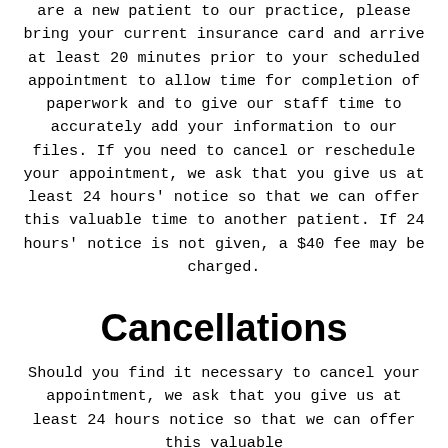are a new patient to our practice, please bring your current insurance card and arrive at least 20 minutes prior to your scheduled appointment to allow time for completion of paperwork and to give our staff time to accurately add your information to our files. If you need to cancel or reschedule your appointment, we ask that you give us at least 24 hours' notice so that we can offer this valuable time to another patient. If 24 hours' notice is not given, a $40 fee may be charged.
Cancellations
Should you find it necessary to cancel your appointment, we ask that you give us at least 24 hours notice so that we can offer this valuable